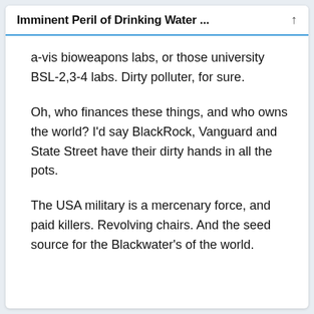Imminent Peril of Drinking Water ...
a-vis bioweapons labs, or those university BSL-2,3-4 labs. Dirty polluter, for sure.
Oh, who finances these things, and who owns the world? I'd say BlackRock, Vanguard and State Street have their dirty hands in all the pots.
The USA military is a mercenary force, and paid killers. Revolving chairs. And the seed source for the Blackwater's of the world.